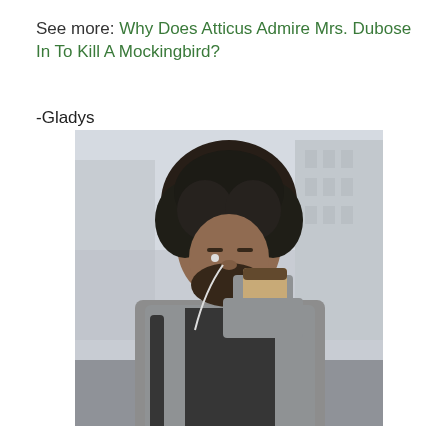See more: Why Does Atticus Admire Mrs. Dubose In To Kill A Mockingbird?
-Gladys
[Figure (photo): A young man with curly afro hair, wearing a grey blazer and black turtleneck, drinking from a disposable coffee cup while wearing white earphones. He has a black backpack strap visible. The background is a blurred city street.]